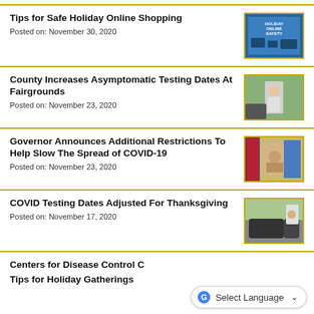Tips for Safe Holiday Online Shopping
Posted on: November 30, 2020
[Figure (photo): Holiday Online Safety graphic with blue background]
County Increases Asymptomatic Testing Dates At Fairgrounds
Posted on: November 23, 2020
[Figure (photo): Person in protective gear at testing site]
Governor Announces Additional Restrictions To Help Slow The Spread of COVID-19
Posted on: November 23, 2020
[Figure (photo): Governor at press conference with American flag]
COVID Testing Dates Adjusted For Thanksgiving
Posted on: November 17, 2020
[Figure (photo): COVID testing site with car and medical worker]
Centers for Disease Control Offers Tips for Holiday Gatherings